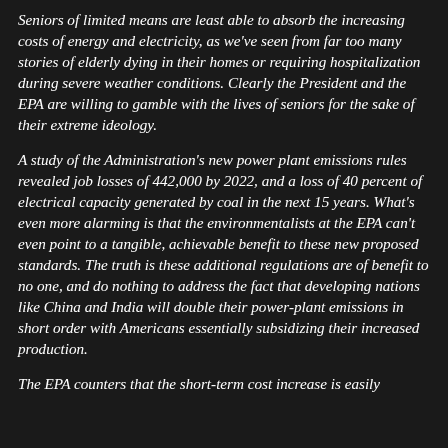Seniors of limited means are least able to absorb the increasing costs of energy and electricity, as we've seen from far too many stories of elderly dying in their homes or requiring hospitalization during severe weather conditions. Clearly the President and the EPA are willing to gamble with the lives of seniors for the sake of their extreme ideology.
A study of the Administration's new power plant emissions rules revealed job losses of 442,000 by 2022, and a loss of 40 percent of electrical capacity generated by coal in the next 15 years. What's even more alarming is that the environmentalists at the EPA can't even point to a tangible, achievable benefit to these new proposed standards. The truth is these additional regulations are of benefit to no one, and do nothing to address the fact that developing nations like China and India will double their power-plant emissions in short order with Americans essentially subsidizing their increased production.
The EPA counters that the short-term cost increase is easily